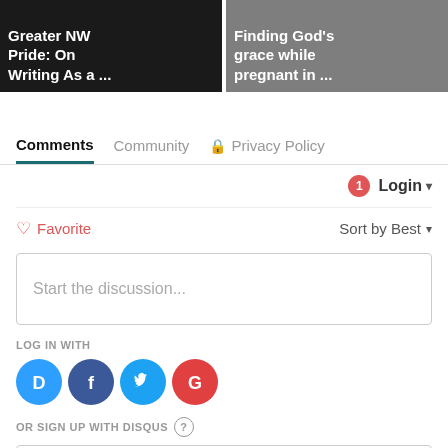[Figure (screenshot): Two article thumbnail cards side by side. Left card has dark background with white bold text: 'Greater NW Pride: On Writing As a ...'. Right card has dark photo background with white bold text: 'Finding God's grace while pregnant in ...']
Comments   Community   🔒 Privacy Policy
🔔1   Login ▼
♡ Favorite   Sort by Best ▼
Start the discussion...
LOG IN WITH
[Figure (logo): Four social login icons: Disqus (blue circle with D), Facebook (dark blue circle with f), Twitter (light blue circle with bird), Google (red circle with G)]
OR SIGN UP WITH DISQUS ?
Name